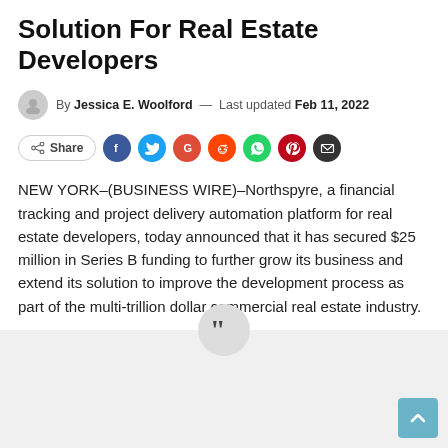Solution For Real Estate Developers
By Jessica E. Woolford — Last updated Feb 11, 2022
[Figure (infographic): Social share buttons row: Share button, Facebook, Twitter, Google+, Reddit, WhatsApp, Pinterest, Email icons]
NEW YORK–(BUSINESS WIRE)–Northspyre, a financial tracking and project delivery automation platform for real estate developers, today announced that it has secured $25 million in Series B funding to further grow its business and extend its solution to improve the development process as part of the multi-trillion dollar commercial real estate industry.
[Figure (illustration): Large quotation mark icon inside a grey circle on a light grey background block, with a blue scroll-to-top button in the bottom right corner]